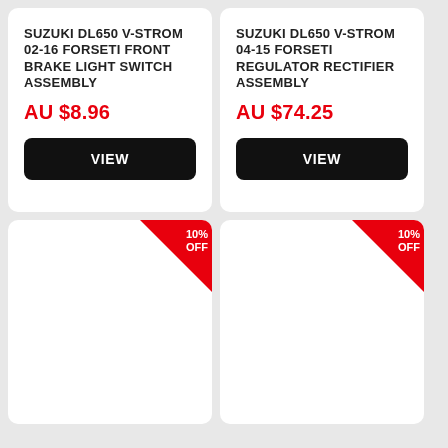SUZUKI DL650 V-STROM 02-16 FORSETI FRONT BRAKE LIGHT SWITCH ASSEMBLY
AU $8.96
SUZUKI DL650 V-STROM 04-15 FORSETI REGULATOR RECTIFIER ASSEMBLY
AU $74.25
[Figure (other): Product card with 10% OFF badge - bottom left]
[Figure (other): Product card with 10% OFF badge - bottom right]